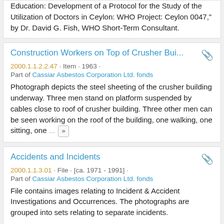Education: Development of a Protocol for the Study of the Utilization of Doctors in Ceylon: WHO Project: Ceylon 0047," by Dr. David G. Fish, WHO Short-Term Consultant.
Construction Workers on Top of Crusher Bui...
2000.1.1.2.2.47 · Item · 1963 ·
Part of Cassiar Asbestos Corporation Ltd. fonds
Photograph depicts the steel sheeting of the crusher building underway. Three men stand on platform suspended by cables close to roof of crusher building. Three other men can be seen working on the roof of the building, one walking, one sitting, one ...
Accidents and Incidents
2000.1.1.3.01 · File · [ca. 1971 - 1991] ·
Part of Cassiar Asbestos Corporation Ltd. fonds
File contains images relating to Incident & Accident Investigations and Occurrences. The photographs are grouped into sets relating to separate incidents.
File contains photographs related primarily to the following subject areas: personnel vehicle ...